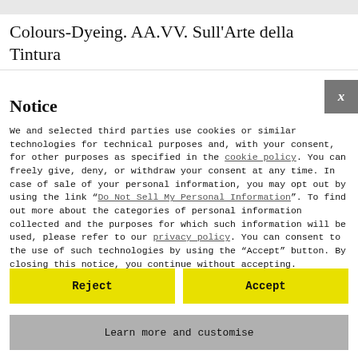Colours-Dyeing. AA.VV. Sull'Arte della Tintura
Notice
We and selected third parties use cookies or similar technologies for technical purposes and, with your consent, for other purposes as specified in the cookie policy. You can freely give, deny, or withdraw your consent at any time. In case of sale of your personal information, you may opt out by using the link " Do Not Sell My Personal Information". To find out more about the categories of personal information collected and the purposes for which such information will be used, please refer to our privacy policy. You can consent to the use of such technologies by using the "Accept" button. By closing this notice, you continue without accepting.
Reject
Accept
Learn more and customise